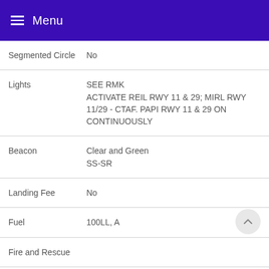Menu
| Field | Value |
| --- | --- |
| Segmented Circle | No |
| Lights | SEE RMK
ACTIVATE REIL RWY 11 & 29; MIRL RWY 11/29 - CTAF. PAPI RWY 11 & 29 ON CONTINUOUSLY |
| Beacon | Clear and Green
SS-SR |
| Landing Fee | No |
| Fuel | 100LL, A |
| Fire and Rescue |  |
| Int'l Operations | Not a Landing Rights Airport
Not an Airport of Entry |